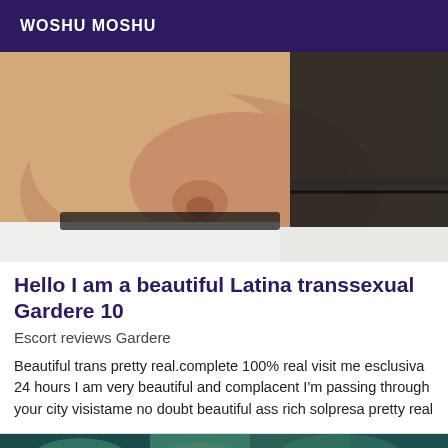WOSHU MOSHU
[Figure (photo): Close-up photo of a person's torso/lower body in black lace lingerie/stockings lying on white bedding]
Hello I am a beautiful Latina transsexual Gardere 10
Escort reviews Gardere
Beautiful trans pretty real.complete 100% real visit me esclusiva 24 hours I am very beautiful and complacent I'm passing through your city visistame no doubt beautiful ass rich solpresa pretty real
[Figure (photo): Partially visible photo at bottom of page, teal/green tones]